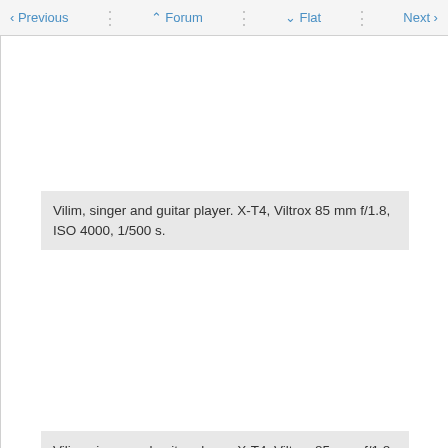< Previous  ^ Forum  v Flat  Next >
[Figure (photo): Photo placeholder area (image not visible) - first photo of Vilim]
Vilim, singer and guitar player. X-T4, Viltrox 85 mm f/1.8, ISO 4000, 1/500 s.
[Figure (photo): Photo placeholder area (image not visible) - second photo of Vilim]
Vilim, singer and guitar player. X-T4, Viltrox 85 mm, f/1.8, ISO 640, 1/400 s. Why the grain? Because I lifted exposure in post.